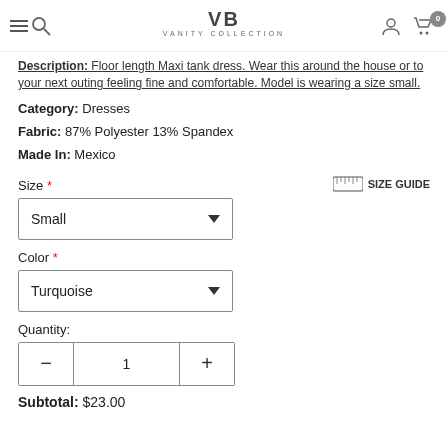VB Vanity Collection
Description: Floor length Maxi tank dress. Wear this around the house or to your next outing feeling fine and comfortable. Model is wearing a size small.
Category: Dresses
Fabric: 87% Polyester 13% Spandex
Made In: Mexico
Size * SIZE GUIDE
Small
Color *
Turquoise
Quantity:
1
Subtotal: $23.00